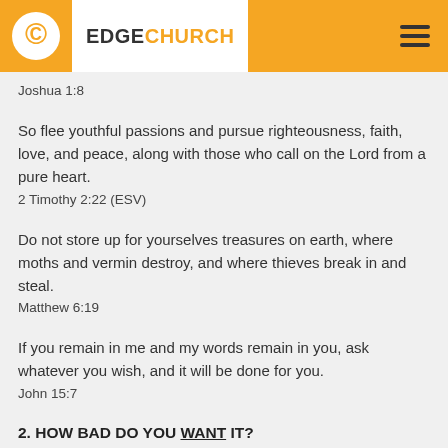EDGE CHURCH
Joshua 1:8
So flee youthful passions and pursue righteousness, faith, love, and peace, along with those who call on the Lord from a pure heart.
2 Timothy 2:22 (ESV)
Do not store up for yourselves treasures on earth, where moths and vermin destroy, and where thieves break in and steal.
Matthew 6:19
If you remain in me and my words remain in you, ask whatever you wish, and it will be done for you.
John 15:7
2. HOW BAD DO YOU WANT IT?
So I turned to the Lord God and pleaded with him in prayer and petition, in fasting, and in sackcloth and ashes.